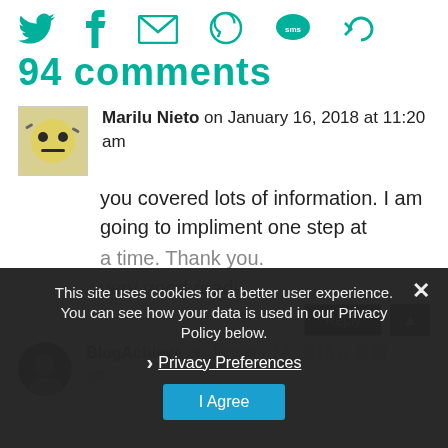[Figure (screenshot): Social sharing icons: Twitter, Facebook, Email, WhatsApp, SMS, Share — all in teal/green color]
94 comments
Marilu Nieto on January 16, 2018 at 11:20 am
you covered lots of information. I am going to impliment one step at a time. Thank you. very good read!
This site uses cookies for a better user experience. You can see how your data is used in our Privacy Policy below.
Privacy Preferences
I Agree
BlogAchieve on January 17, 2018 at 8:38 am